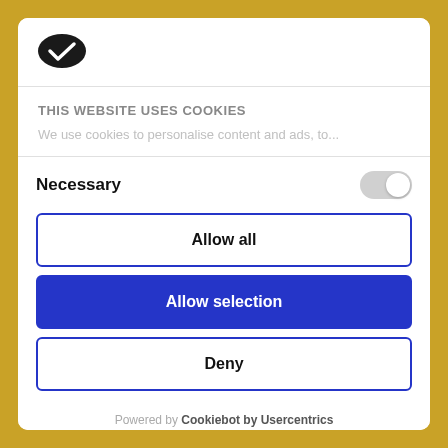[Figure (logo): Cookiebot logo — a cookie with a checkmark inside, dark/black oval shape]
THIS WEBSITE USES COOKIES
We use cookies to personalise content and ads, to...
Necessary
Allow all
Allow selection
Deny
Powered by Cookiebot by Usercentrics